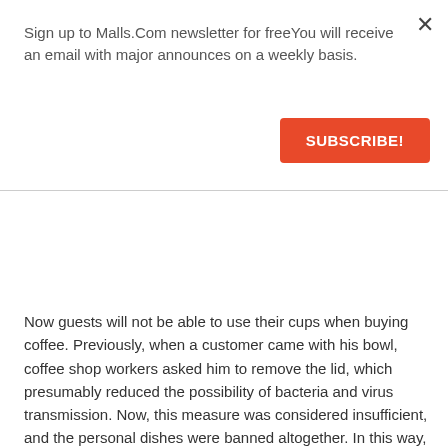Sign up to Malls.Com newsletter for freeYou will receive an email with major announces on a weekly basis.
SUBSCRIBE!
Now guests will not be able to use their cups when buying coffee. Previously, when a customer came with his bowl, coffee shop workers asked him to remove the lid, which presumably reduced the possibility of bacteria and virus transmission. Now, this measure was considered insufficient, and the personal dishes were banned altogether. In this way, the company hopes to block the possible exchange of viruses between customers and staff.